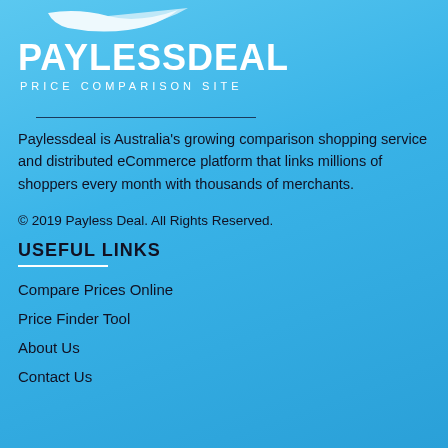[Figure (logo): Paylessdeal logo with bird/eagle graphic and text PAYLESSDEAL Price Comparison Site on blue background]
Paylessdeal is Australia's growing comparison shopping service and distributed eCommerce platform that links millions of shoppers every month with thousands of merchants.
© 2019 Payless Deal. All Rights Reserved.
USEFUL LINKS
Compare Prices Online
Price Finder Tool
About Us
Contact Us